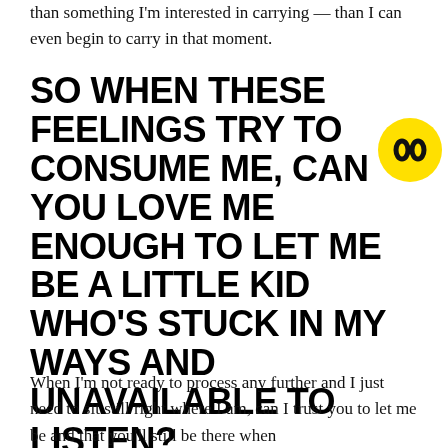than something I'm interested in carrying — than I can even begin to carry in that moment.
SO WHEN THESE FEELINGS TRY TO CONSUME ME, CAN YOU LOVE ME ENOUGH TO LET ME BE A LITTLE KID WHO'S STUCK IN MY WAYS AND UNAVAILABLE TO LISTEN?
[Figure (logo): Yellow circle with black stylized double-parenthesis/face icon]
When I'm not ready to process any further and I just need to sit still right where I am, can I trust you to let me be and that you'll still be there when